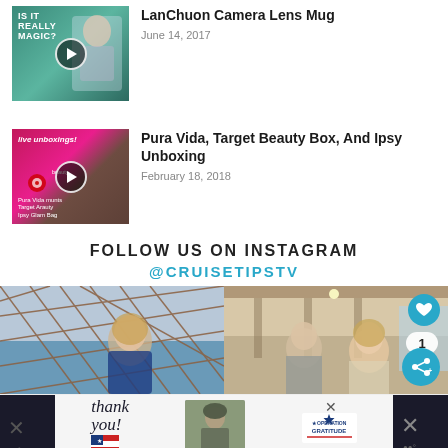[Figure (screenshot): Thumbnail for LanChuon Camera Lens Mug video with play button]
LanChuon Camera Lens Mug
June 14, 2017
[Figure (screenshot): Thumbnail for Live unboxings video with play button, pink/brown background]
Pura Vida, Target Beauty Box, And Ipsy Unboxing
February 18, 2018
FOLLOW US ON INSTAGRAM
@CRUISETIPSTV
[Figure (photo): Two Instagram photos: left shows woman smiling on ship deck with rope netting; right shows couple on cruise ship interior]
[Figure (photo): Advertisement banner: Operation Gratitude thank you ad with soldier imagery]